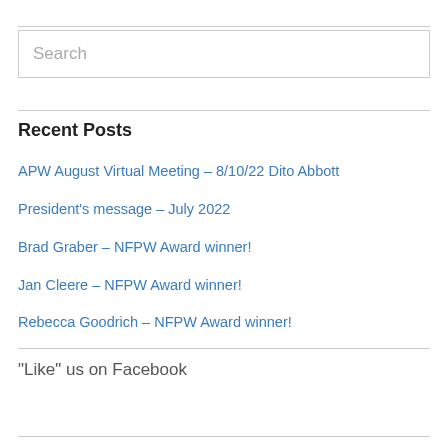Search
Recent Posts
APW August Virtual Meeting – 8/10/22 Dito Abbott
President's message – July 2022
Brad Graber – NFPW Award winner!
Jan Cleere – NFPW Award winner!
Rebecca Goodrich – NFPW Award winner!
“Like” us on Facebook